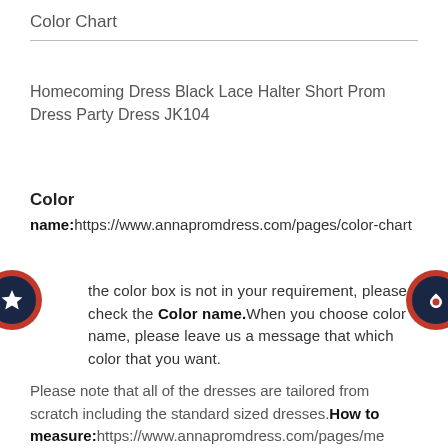Color Chart
Homecoming Dress Black Lace Halter Short Prom Dress Party Dress JK104
Color
name:https://www.annapromdress.com/pages/color-chart
the color box is not in your requirement, please check the Color name.When you choose color name, please leave us a message that which color that you want.
Please note that all of the dresses are tailored from scratch including the standard sized dresses.How to measure:https://www.annapromdress.com/pages/me